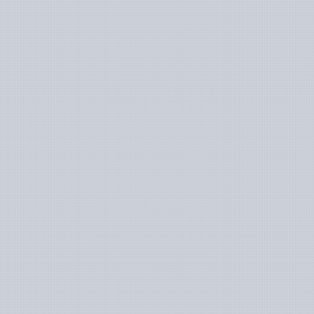Substack by focusing on membership and newsletters. The creators of Ghost offer managed Pro hosting but it may not fit everyone's budget. Alternatively, you can self-host it on your own cloud servers. On Linux handbook, we already have a guide on deploying Ghost with Docker in a